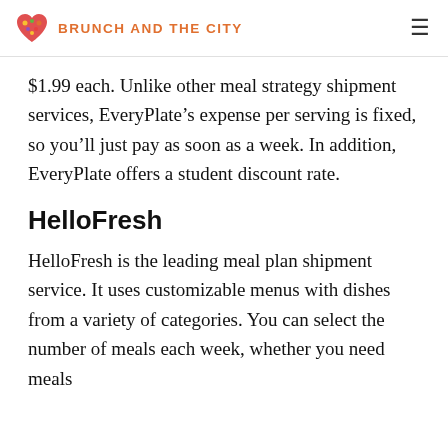BRUNCH AND THE CITY
$1.99 each. Unlike other meal strategy shipment services, EveryPlate's expense per serving is fixed, so you'll just pay as soon as a week. In addition, EveryPlate offers a student discount rate.
HelloFresh
HelloFresh is the leading meal plan shipment service. It uses customizable menus with dishes from a variety of categories. You can select the number of meals each week, whether you need meals